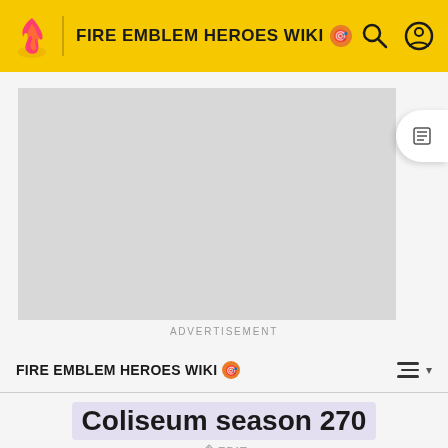FIRE EMBLEM HEROES WIKI
[Figure (screenshot): Advertisement placeholder block (grey rectangle)]
ADVERTISEMENT
FIRE EMBLEM HEROES WIKI
Coliseum season 270
✎ EDIT
[Figure (photo): Content image placeholder (grey rectangle)]